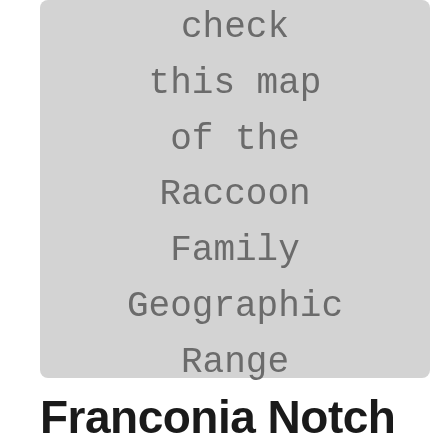check this map of the Raccoon Family Geographic Range
Franconia Notch State Park